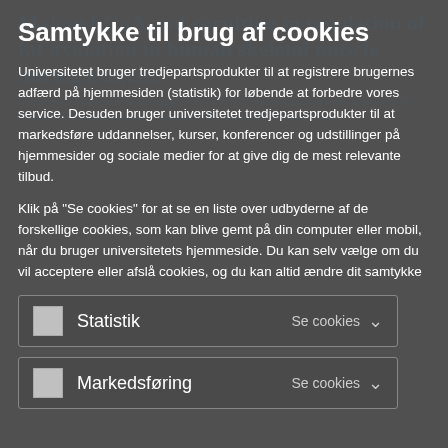Samtykke til brug af cookies
Universitetet bruger tredjepartsprodukter til at registrere brugernes adfærd på hjemmesiden (statistik) for løbende at forbedre vores service. Desuden bruger universitetet tredjepartsprodukter til at markedsføre uddannelser, kurser, konferencer og udstillinger på hjemmesider og sociale medier for at give dig de mest relevante tilbud.
Klik på "Se cookies" for at se en liste over udbyderne af de forskellige cookies, som kan blive gemt på din computer eller mobil, når du bruger universitetets hjemmeside. Du kan selv vælge om du vil acceptere eller afslå cookies, og du kan altid ændre dit samtykke
Statistik   Se cookies ∨
Markedsføring   Se cookies ∨